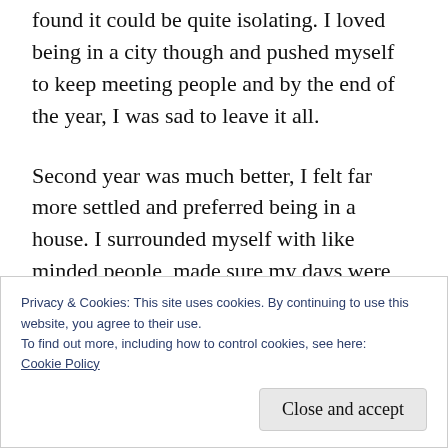found it could be quite isolating. I loved being in a city though and pushed myself to keep meeting people and by the end of the year, I was sad to leave it all.
Second year was much better, I felt far more settled and preferred being in a house. I surrounded myself with like minded people, made sure my days were busy and took advantage of opportunities that came my way
Privacy & Cookies: This site uses cookies. By continuing to use this website, you agree to their use.
To find out more, including how to control cookies, see here: Cookie Policy